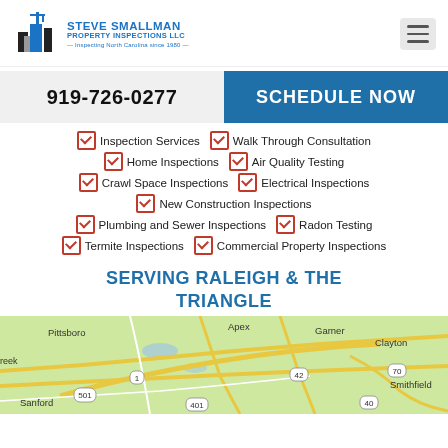[Figure (logo): Steve Smallman Property Inspections LLC logo with blue buildings graphic]
919-726-0277
SCHEDULE NOW
Inspection Services
Walk Through Consultation
Home Inspections
Air Quality Testing
Crawl Space Inspections
Electrical Inspections
New Construction Inspections
Plumbing and Sewer Inspections
Radon Testing
Termite Inspections
Commercial Property Inspections
SERVING RALEIGH & THE TRIANGLE
[Figure (map): Google Maps view showing Raleigh and The Triangle area of North Carolina, including Pittsboro, Apex, Garner, Clayton, Smithfield, Sanford and surrounding areas with roads 501, 1, 42, 70, 40, 401 visible]